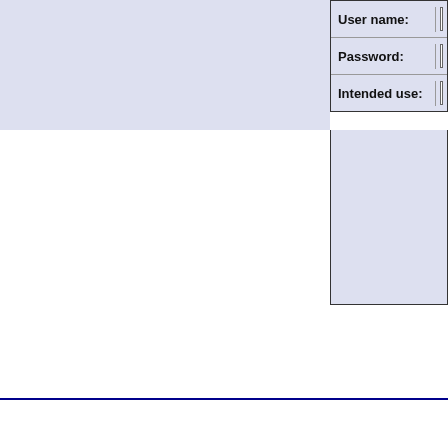[Figure (screenshot): A form interface fragment showing a light blue/lavender box on the left and a bordered form panel on the right with fields for User name, Password, and Intended use. Below is a large blue-tinted content area, then a horizontal dark blue rule line, followed by a white footer region.]
User name:
Password:
Intended use: